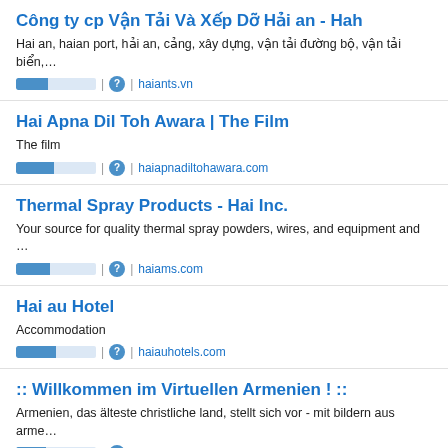Công ty cp Vận Tải Và Xếp Dỡ Hải an - Hah
Hai an, haian port, hải an, cảng, xây dựng, vận tải đường bộ, vận tải biển,...
haiants.vn
Hai Apna Dil Toh Awara | The Film
The film
haiapnadiltohawara.com
Thermal Spray Products - Hai Inc.
Your source for quality thermal spray powders, wires, and equipment and ...
haiams.com
Hai au Hotel
Accommodation
haiauhotels.com
:: Willkommen im Virtuellen Armenien ! ::
Armenien, das älteste christliche land, stellt sich vor - mit bildern aus arme...
haias.net
e-Websitebuilder Website - Home